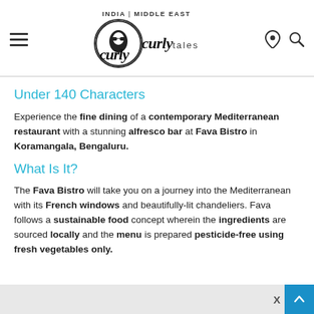Curly Tales — INDIA | MIDDLE EAST
Under 140 Characters
Experience the fine dining of a contemporary Mediterranean restaurant with a stunning alfresco bar at Fava Bistro in Koramangala, Bengaluru.
What Is It?
The Fava Bistro will take you on a journey into the Mediterranean with its French windows and beautifully-lit chandeliers. Fava follows a sustainable food concept wherein the ingredients are sourced locally and the menu is prepared pesticide-free using fresh vegetables only.